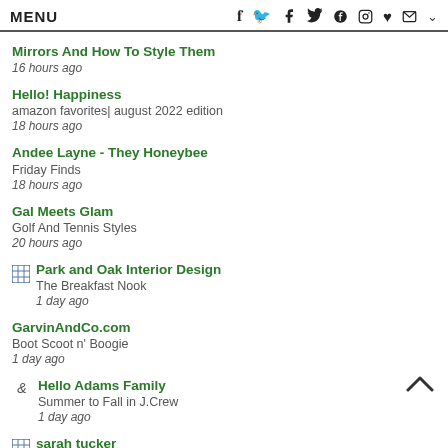MENU
Mirrors And How To Style Them
16 hours ago
Hello! Happiness
amazon favorites| august 2022 edition
18 hours ago
Andee Layne - They Honeybee
Friday Finds
18 hours ago
Gal Meets Glam
Golf And Tennis Styles
20 hours ago
Park and Oak Interior Design
The Breakfast Nook
1 day ago
GarvinAndCo.com
Boot Scoot n' Boogie
1 day ago
Hello Adams Family
Summer to Fall in J.Crew
1 day ago
sarah tucker
Back to School Tips